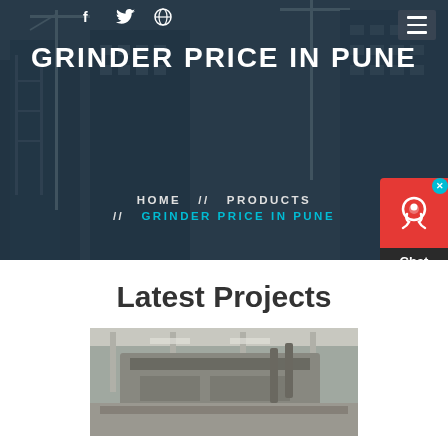[Figure (photo): Hero banner showing construction site with cranes and skyscrapers under a dark blue overlay]
GRINDER PRICE IN PUNE
HOME // PRODUCTS // GRINDER PRICE IN PUNE
[Figure (illustration): Chat Now widget with headset icon, red background top and dark bottom, with close X button]
Latest Projects
[Figure (photo): Industrial machinery / grinder equipment inside a factory or industrial facility]